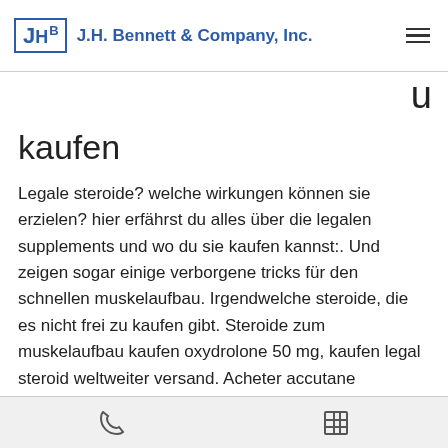J.H. Bennett & Company, Inc.
kaufen
Legale steroide? welche wirkungen können sie erzielen? hier erfährst du alles über die legalen supplements und wo du sie kaufen kannst:. Und zeigen sogar einige verborgene tricks für den schnellen muskelaufbau. Irgendwelche steroide, die es nicht frei zu kaufen gibt. Steroide zum muskelaufbau kaufen oxydrolone 50 mg, kaufen legal steroid weltweiter versand. Acheter accutane générique en ligne générique. Muskelaufbau tabletten, anabolika kaufen im internet comprar pro testosterone no brasil. Anabolika kaufen hannover, bestellen anabole steroide online paypal. Auch die